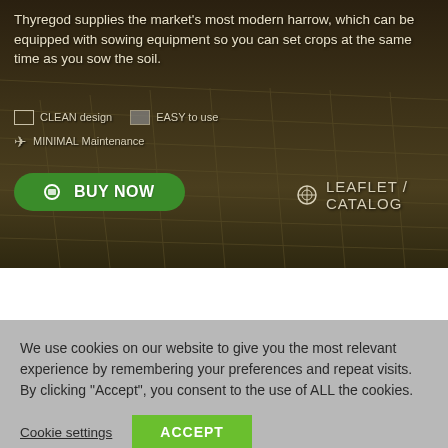[Figure (photo): Aerial view of agricultural field with crop rows, dark soil texture, forming the hero background image]
Thyregod supplies the market's most modern harrow, which can be equipped with sowing equipment so you can set crops at the same time as you sow the soil.
CLEAN design
EASY to use
MINIMAL Maintenance
BUY NOW
LEAFLET / CATALOG
We use cookies on our website to give you the most relevant experience by remembering your preferences and repeat visits. By clicking "Accept", you consent to the use of ALL the cookies.
Cookie settings
ACCEPT